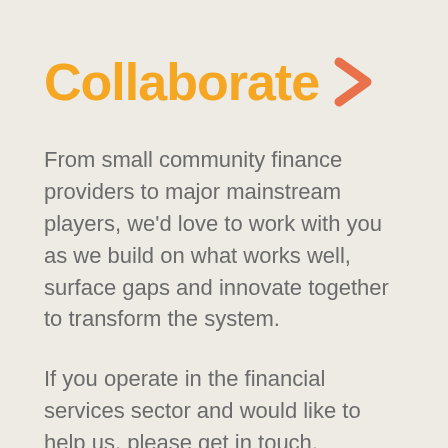Collaborate >
From small community finance providers to major mainstream players, we’d love to work with you as we build on what works well, surface gaps and innovate together to transform the system.
If you operate in the financial services sector and would like to help us, please get in touch.